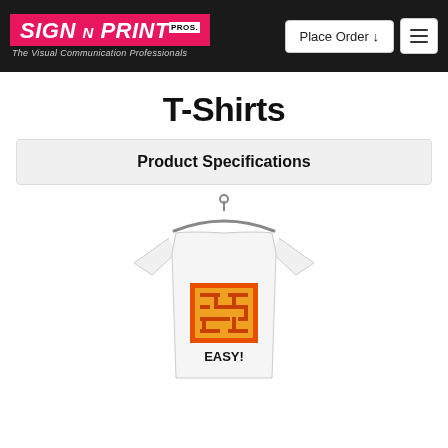Sign N Print Pros — The Visual Communication Professionals | Place Order ↓ | Menu
T-Shirts
Product Specifications
[Figure (photo): A white t-shirt on a hanger displaying an orange maze graphic with the word EASY! in bold black text beneath it]